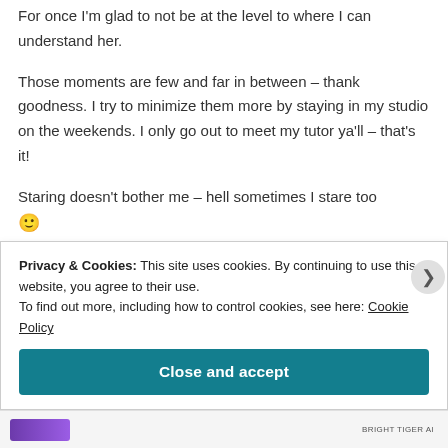For once I'm glad to not be at the level to where I can understand her.
Those moments are few and far in between – thank goodness. I try to minimize them more by staying in my studio on the weekends. I only go out to meet my tutor ya'll – that's it!
Staring doesn't bother me – hell sometimes I stare too 🙂
Privacy & Cookies: This site uses cookies. By continuing to use this website, you agree to their use.
To find out more, including how to control cookies, see here: Cookie Policy
Close and accept